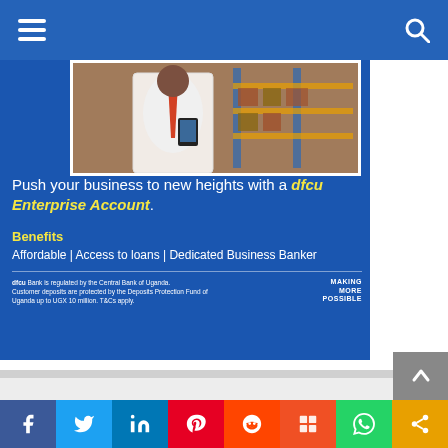Navigation bar with hamburger menu and search icon
[Figure (illustration): dfcu Bank advertisement banner: Blue background with photo of businessman in warehouse, text 'Push your business to new heights with a dfcu Enterprise Account.' Benefits listed: Affordable | Access to loans | Dedicated Business Banker. Tagline: MAKING MORE POSSIBLE]
[Figure (other): Social sharing buttons bar: Facebook, Twitter, LinkedIn, Pinterest, Reddit, Mix, WhatsApp, Share]
[Figure (other): Back to top button (gray arrow)]